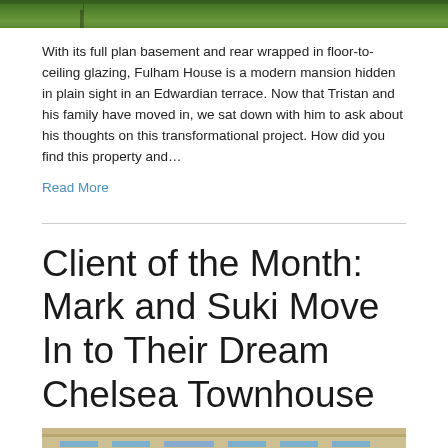[Figure (photo): Top portion of an outdoor photo showing green trees/garden]
With its full plan basement and rear wrapped in floor-to-ceiling glazing, Fulham House is a modern mansion hidden in plain sight in an Edwardian terrace. Now that Tristan and his family have moved in, we sat down with him to ask about his thoughts on this transformational project. How did you find this property and…
Read More
Client of the Month: Mark and Suki Move In to Their Dream Chelsea Townhouse
[Figure (photo): Bottom portion showing the facade of a Chelsea townhouse with brick and stone detailing, windows visible]